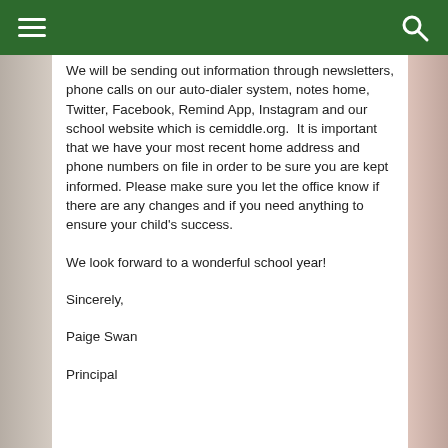We will be sending out information through newsletters, phone calls on our auto-dialer system, notes home, Twitter, Facebook, Remind App, Instagram and our school website which is cemiddle.org.  It is important that we have your most recent home address and phone numbers on file in order to be sure you are kept informed. Please make sure you let the office know if there are any changes and if you need anything to ensure your child's success.
We look forward to a wonderful school year!
Sincerely,
Paige Swan
Principal